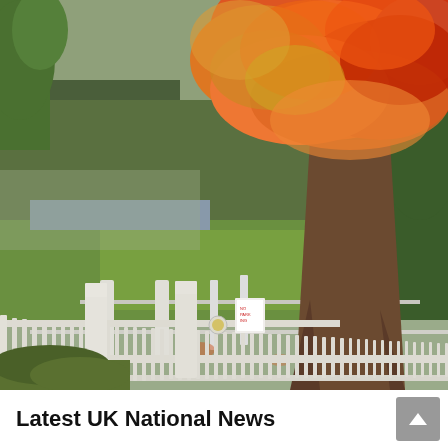[Figure (photo): Autumn scene in a park: a large tree with orange and red fall foliage dominates the center-right, with green grass, a white wooden fence/railing in the foreground, park benches, and overcast sky in the background.]
Latest UK National News